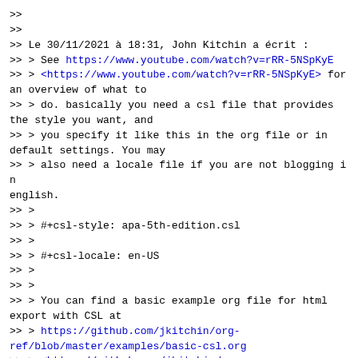>>
>>
>> Le 30/11/2021 à 18:31, John Kitchin a écrit :
>> > See https://www.youtube.com/watch?v=rRR-5NSpKyE
>> > <https://www.youtube.com/watch?v=rRR-5NSpKyE> for an overview of what to
>> > do. basically you need a csl file that provides the style you want, and
>> > you specify it like this in the org file or in default settings. You may
>> > also need a locale file if you are not blogging in english.
>> >
>> > #+csl-style: apa-5th-edition.csl
>> >
>> > #+csl-locale: en-US
>> >
>> >
>> > You can find a basic example org file for html export with CSL at
>> > https://github.com/jkitchin/org-ref/blob/master/examples/basic-csl.org
>> > <https://github.com/jkitchin/org-ref/blob/master/examples/basic-csl.org>
>> >
>> > Here is a minimal way to export your blog file I suppose.
>> >
>> > (let ((org-export-before-parsing-hook '(org-ref-csl-preprocess-buffer)))